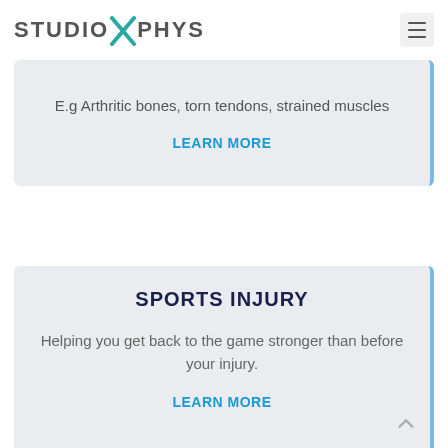[Figure (logo): StudioXPhys logo with teal X icon and grey text]
E.g Arthritic bones, torn tendons, strained muscles
LEARN MORE
SPORTS INJURY
Helping you get back to the game stronger than before your injury.
LEARN MORE